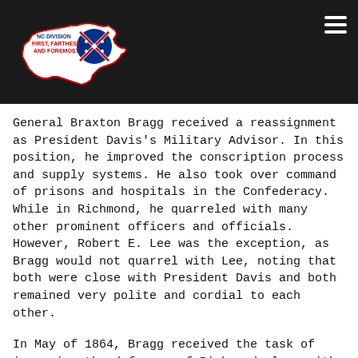[Figure (logo): NC Division Sons of Confederate Veterans logo — white North Carolina state outline with Confederate battle flag circle and text 'NC DIVISION FIRST, FARTHEST AND FOREMOST']
General Braxton Bragg received a reassignment as President Davis's Military Advisor. In this position, he improved the conscription process and supply systems. He also took over command of prisons and hospitals in the Confederacy. While in Richmond, he quarreled with many other prominent officers and officials. However, Robert E. Lee was the exception, as Bragg would not quarrel with Lee, noting that both were close with President Davis and both remained very polite and cordial to each other.
In May of 1864, Bragg received the task of improving the defenses of Richmond along with P. G. T. Beauregard. Davis